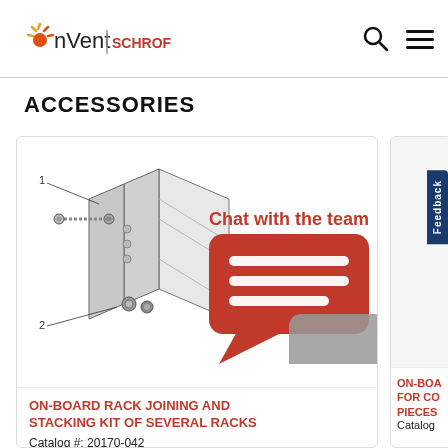nVent | SCHROFF
ACCESSORIES
[Figure (engineering-diagram): On-board rack joining and stacking kit assembly diagram showing two components labeled 1 and 2 with bolts and panel connections]
Chat with the team
ON-BOARD RACK JOINING AND STACKING KIT OF SEVERAL RACKS
Catalog #: 20170-042
ON-BOA FOR CO PIECES
Catalog